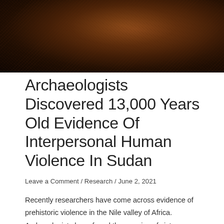[Figure (photo): Close-up photograph of dark reddish-brown soil or earth, with warm amber/brown tones, suggesting archaeological excavation site material.]
Archaeologists Discovered 13,000 Years Old Evidence Of Interpersonal Human Violence In Sudan
Leave a Comment / Research / June 2, 2021
Recently researchers have come across evidence of prehistoric violence in the Nile valley of Africa. Archaeologists have found the remains of sixty-one persons (Skeletons) buried in the Jebel Sahabas cemetery. The archaeological evidence points toward the rise of